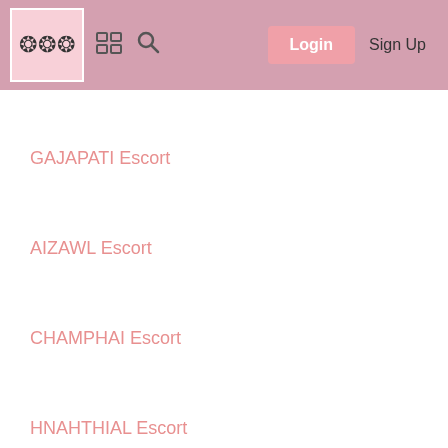Navigation bar with logo (flower icons), grid icon, search icon, Login button, Sign Up
GAJAPATI Escort
AIZAWL Escort
CHAMPHAI Escort
HNAHTHIAL Escort
KOLASIB Escort
KHAWZAWL Escort